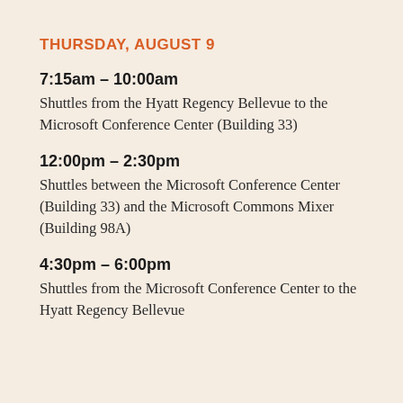THURSDAY, AUGUST 9
7:15am – 10:00am
Shuttles from the Hyatt Regency Bellevue to the Microsoft Conference Center (Building 33)
12:00pm – 2:30pm
Shuttles between the Microsoft Conference Center (Building 33) and the Microsoft Commons Mixer (Building 98A)
4:30pm – 6:00pm
Shuttles from the Microsoft Conference Center to the Hyatt Regency Bellevue